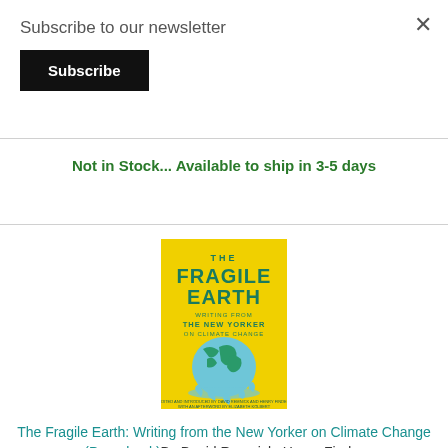Subscribe to our newsletter
Subscribe
×
Not in Stock... Available to ship in 3-5 days
[Figure (illustration): Book cover of 'The Fragile Earth: Writing from The New Yorker on Climate Change' — yellow background with teal/blue globe melting, teal title text]
The Fragile Earth: Writing from the New Yorker on Climate Change (Paperback)By David Remnick, Henry Finder
$18.99